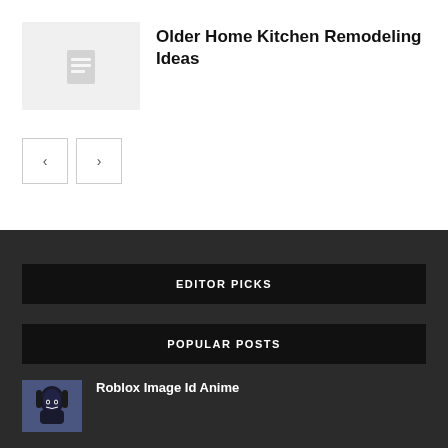[Figure (illustration): Thumbnail placeholder with document icon]
Older Home Kitchen Remodeling Ideas
[Figure (illustration): Pagination arrows: left arrow and right arrow buttons]
EDITOR PICKS
POPULAR POSTS
[Figure (photo): Small thumbnail of anime character for popular post]
Roblox Image Id Anime